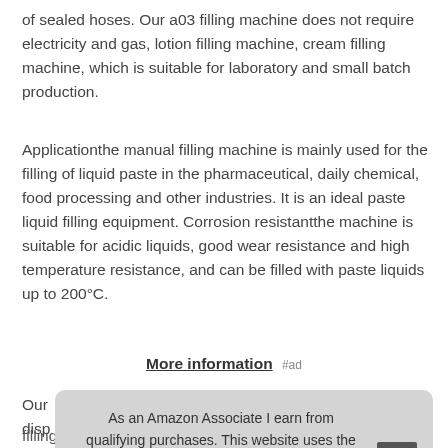of sealed hoses. Our a03 filling machine does not require electricity and gas, lotion filling machine, cream filling machine, which is suitable for laboratory and small batch production.
Applicationthe manual filling machine is mainly used for the filling of liquid paste in the pharmaceutical, daily chemical, food processing and other industries. It is an ideal paste liquid filling equipment. Corrosion resistantthe machine is suitable for acidic liquids, good wear resistance and high temperature resistance, and can be filled with paste liquids up to 200°C.
More information #ad
Our [partially obscured] disp[artially obscured]
As an Amazon Associate I earn from qualifying purchases. This website uses the only necessary cookies to ensure you get the best experience on our website. More information
Eas[partially obscured] stee[partially obscured]
filling machinehigh quality steel cylinder, water separator